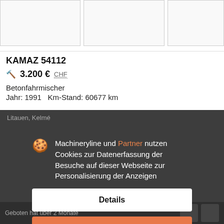[Figure (photo): Three image placeholders for vehicle listing]
KAMAZ 54112
🔨 3.200 € CHF
Betonfahrmischer
Jahr: 1991   Km-Stand: 60677 km
Litauen, Kelmé
Machineryline und Partner nutzen Cookies zur Datenerfassung der Besuche auf dieser Webseite zur Personalisierung der Anzeigen
Details
Akzeptieren und schließen